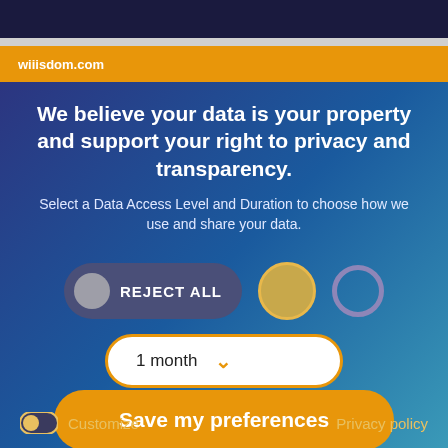wiiisdom.com
We believe your data is your property and support your right to privacy and transparency.
Select a Data Access Level and Duration to choose how we use and share your data.
[Figure (infographic): Privacy consent UI with REJECT ALL toggle button and two circular icons (gold and purple)]
[Figure (infographic): Dropdown selector showing '1 month' with orange border and chevron arrow]
Save my preferences
Customize   Privacy policy